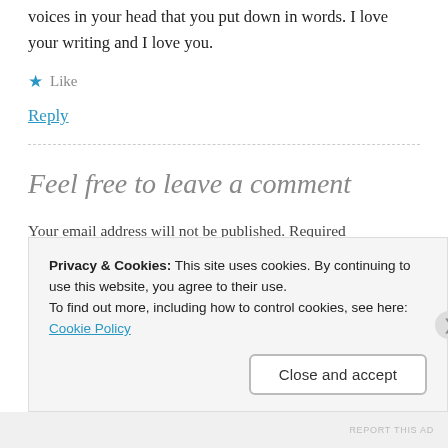voices in your head that you put down in words. I love your writing and I love you.
★ Like
Reply
Feel free to leave a comment
Your email address will not be published. Required
Privacy & Cookies: This site uses cookies. By continuing to use this website, you agree to their use.
To find out more, including how to control cookies, see here: Cookie Policy
Close and accept
REPORT THIS AD